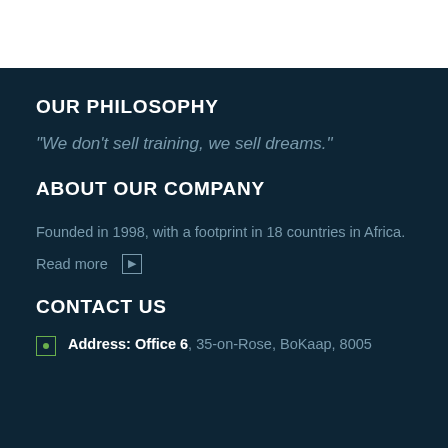OUR PHILOSOPHY
"We don't sell training, we sell dreams."
ABOUT OUR COMPANY
Founded in 1998, with a footprint in 18 countries in Africa.
Read more →
CONTACT US
Address: Office 6, 35-on-Rose, BoKaap, 8005